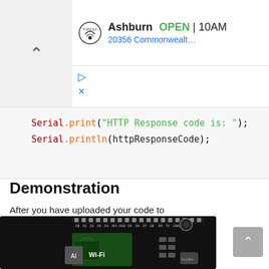[Figure (screenshot): Topgolf advertisement banner showing location in Ashburn, OPEN status, hours starting 10AM, address 20356 Commonwealth]
Serial.print("HTTP Response code is: ");
    Serial.println(httpResponseCode);
Demonstration
After you have uploaded your code to the ESP8266 development board press its RST button.
[Figure (photo): ESP8266 development board (NodeMCU) with WiFi label, showing pin headers and components on a black PCB]